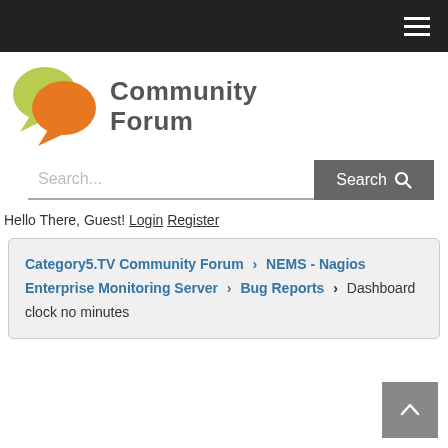[Figure (logo): Community Forum logo with two speech bubbles (light green and orange) and bold gray text reading 'Community Forum']
Search...
Hello There, Guest! Login Register
Category5.TV Community Forum > NEMS - Nagios Enterprise Monitoring Server > Bug Reports > Dashboard clock no minutes